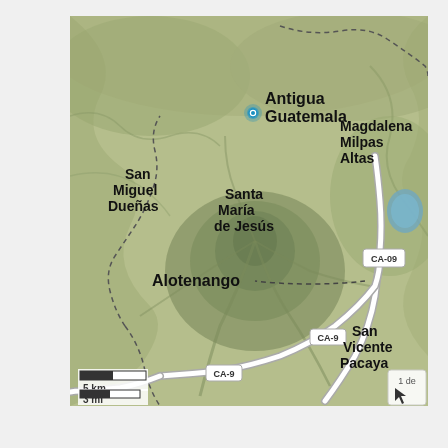[Figure (map): Topographic map of the Antigua Guatemala region in Guatemala, showing cities/towns including Antigua Guatemala (with blue location marker), San Miguel Dueñas, Santa María de Jesús, Magdalena Milpas Altas, Alotenango, San Vicente Pacaya. Roads labeled CA-09 and CA-9 visible. Scale bar showing 5 km / 3 mi in lower left. Mountainous terrain with shaded relief.]